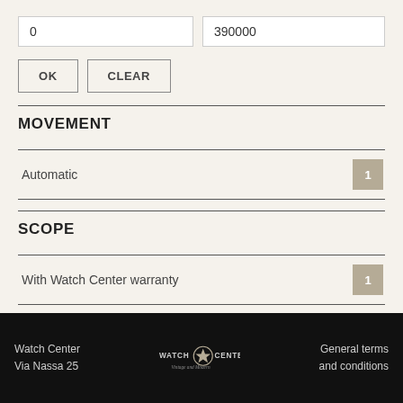0
390000
OK
CLEAR
MOVEMENT
Automatic  1
SCOPE
With Watch Center warranty  1
Watch Center
Via Nassa 25
WATCH CENTER
Vintage and Modern
General terms
and conditions